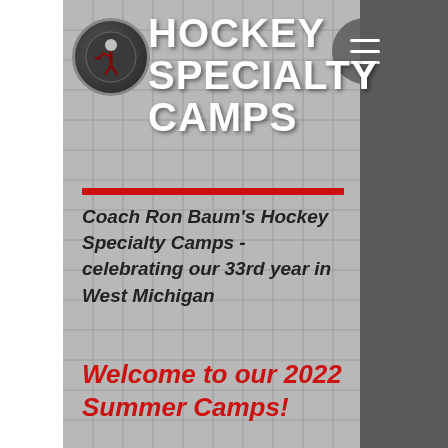[Figure (logo): Hockey Specialty Camps logo: circular dark badge with a hockey player figure in red on grey background]
HOCKEY SPECIALTY CAMPS
[Figure (other): Circular hamburger menu button with three white horizontal lines on dark grey background]
Coach Ron Baum's Hockey Specialty Camps - celebrating our 33rd year in West Michigan
Welcome to our 2022 Summer Camps!